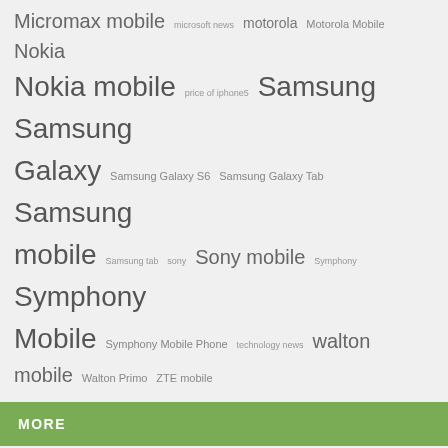Micromax mobile microsoft news motorola Motorola Mobile Nokia Nokia mobile price of iphone5 Samsung Samsung Galaxy Samsung Galaxy S6 Samsung Galaxy Tab Samsung mobile Samsung tab sony Sony mobile Symphony Symphony Mobile Symphony Mobile Phone technology news walton mobile Walton Primo ZTE mobile
MORE
[Figure (photo): Infinix HOT 10 smartphone advertisement showing a young woman holding a teal/green phone, with G70 GAMING text on the right side]